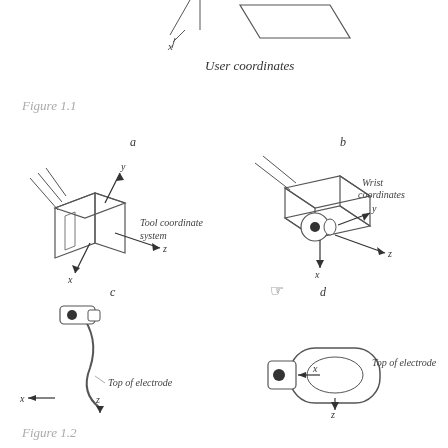[Figure (engineering-diagram): Top portion: User coordinates label with arrow pointing to a parallelogram shape and an X mark below it. Below: Figure 1.1 caption. Main diagram split into 4 sub-figures (a, b, c, d). (a) Tool coordinate system with 3D box/chuck shape with x, y, z axes. (b) Wrist coordinates with robotic wrist/tool and x, y, z axes. (c) Side view of welding gun/electrode with curved hose, dot, x arrow and z arrow labeled 'Top of electrode'. (d) Front view of welding gun/electrode with oval shape, dot, x arrow and z arrow labeled 'Top of electrode'.]
Figure 1.1
Figure 1.2